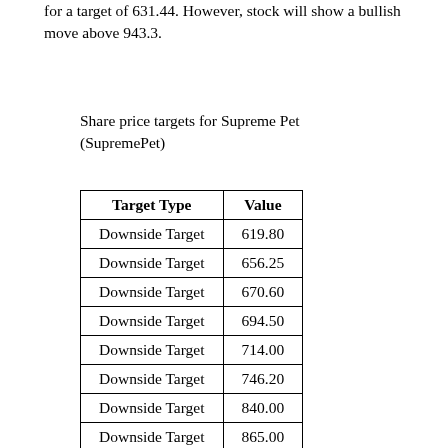for a target of 631.44. However, stock will show a bullish move above 943.3.
Share price targets for Supreme Pet (SupremePet)
| Target Type | Value |
| --- | --- |
| Downside Target | 619.80 |
| Downside Target | 656.25 |
| Downside Target | 670.60 |
| Downside Target | 694.50 |
| Downside Target | 714.00 |
| Downside Target | 746.20 |
| Downside Target | 840.00 |
| Downside Target | 865.00 |
| Downside Target | 894.00 |
| Downside Target | 914.30 |
| Downside Target | 928.55 |
| Upside Target | 980.15 |